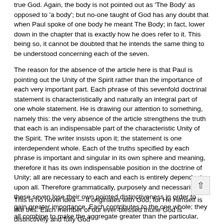true God. Again, the body is not pointed out as 'The Body' as opposed to 'a body'; but no-one taught of God has any doubt that when Paul spoke of one body he meant The Body; in fact, lower down in the chapter that is exactly how he does refer to it. This being so, it cannot be doubted that he intends the same thing to be understood concerning each of the seven.
The reason for the absence of the article here is that Paul is pointing out the Unity of the Spirit rather than the importance of each very important part. Each phrase of this sevenfold doctrinal statement is characteristically and naturally an integral part of one whole statement. He is drawing our attention to something, namely this: the very absence of the article strengthens the truth that each is an indispensable part of the characteristic Unity of the Spirit. The writer insists upon it; the statement is one interdependent whole. Each of the truths specified by each phrase is important and singular in its own sphere and meaning, therefore it has its own indispensable position in the doctrine of Unity; all are necessary to each and each is entirely dependent upon all. Therefore grammatically, purposely and necessarily these seven lose their own pointed distinctiveness in order to gain greater importance. Each contributes to the one whole; they all combine to make the aggregate greater than the particular, and so together present the full truth.
This is no novel idea — it originates with God, for He Himself is like this. Each member of our ever-blessed triune God is distinctively and fully God